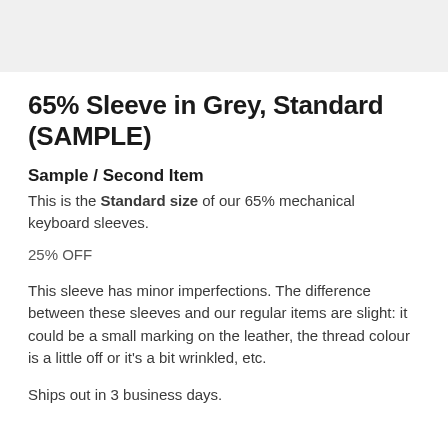[Figure (photo): Grey image placeholder area at top of page]
65% Sleeve in Grey, Standard (SAMPLE)
Sample / Second Item
This is the Standard size of our 65% mechanical keyboard sleeves.
25% OFF
This sleeve has minor imperfections. The difference between these sleeves and our regular items are slight: it could be a small marking on the leather, the thread colour is a little off or it's a bit wrinkled, etc.
Ships out in 3 business days.